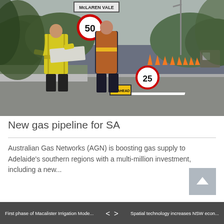[Figure (photo): Two workers in high-visibility vests standing on a road at McLaren Vale, examining plans/documents. Speed signs (50 and 25) visible, orange traffic cones in background, road works scene.]
New gas pipeline for SA
Australian Gas Networks (AGN) is boosting gas supply to Adelaide's southern regions with a multi-million investment, including a new...
First phase of Macalister Irrigation Mode...  < >  Spatial technology increases NSW econ...